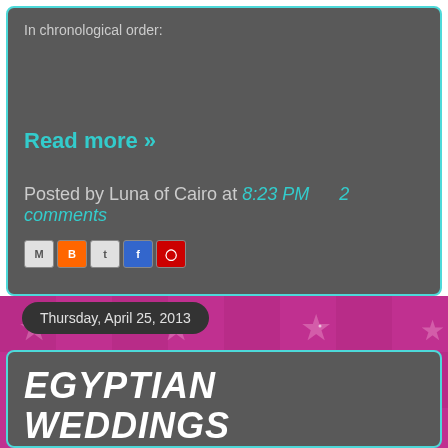In chronological order:
Read more »
Posted by Luna of Cairo at 8:23 PM   2 comments
[Figure (other): Social share icons: email, BlogThis!, Twitter, Facebook, Pinterest]
Thursday, April 25, 2013
Egyptian Weddings
As much as I love performing on the Nile Memphis, nothing bea... dancing at weddings.  Weddings are considered the "holy grail" o... industry and with good reason.  Everything from the...